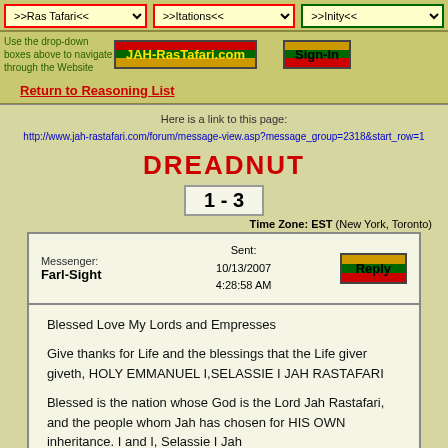>>Ras Tafari<<  >>Itations<<  >>Inity<<
Use the drop-down boxes above to navigate through the Website
[Figure (logo): JAH-RasTafari.com logo with Rastafarian flag colors (red, green, gold)]
[Figure (logo): Sign-In button with Rastafarian flag colors]
Return to Reasoning List
Here is a link to this page:
http://www.jah-rastafari.com/forum/message-view.asp?message_group=2318&start_row=1
DREADNUT
1 - 3
Time Zone: EST (New York, Toronto)
| Messenger | Sent | Action |
| --- | --- | --- |
| Farl-Sight | 10/13/2007
4:28:58 AM | Reply |
Blessed Love My Lords and Empresses

Give thanks for Life and the blessings that the Life giver giveth, HOLY EMMANUEL I,SELASSIE I JAH RASTAFARI

Blessed is the nation whose God is the Lord Jah Rastafari, and the people whom Jah has chosen for HIS OWN inheritance. I and I, Selassie I Jah